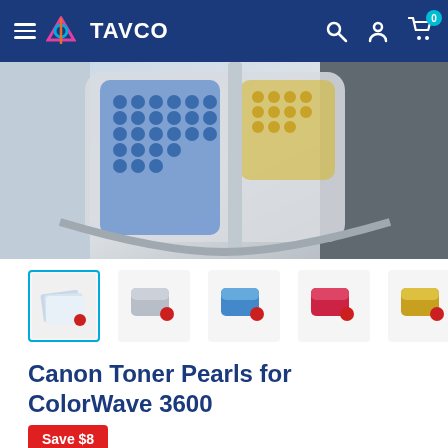TAVCO
[Figure (photo): Close-up product photo of Canon ColorWave 3600 toner pearl cartridges showing blue and yellow pearls in clear containers]
[Figure (photo): Thumbnail gallery showing 5 toner pearl cartridge variants: all colors, grey/silver, blue, red/magenta, and yellow]
Canon Toner Pearls for ColorWave 3600
Save $8